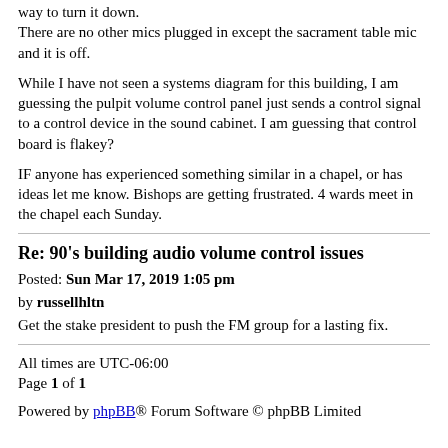way to turn it down.
There are no other mics plugged in except the sacrament table mic and it is off.
While I have not seen a systems diagram for this building, I am guessing the pulpit volume control panel just sends a control signal to a control device in the sound cabinet. I am guessing that control board is flakey?
IF anyone has experienced something similar in a chapel, or has ideas let me know. Bishops are getting frustrated. 4 wards meet in the chapel each Sunday.
Re: 90's building audio volume control issues
Posted: Sun Mar 17, 2019 1:05 pm
by russellhltn
Get the stake president to push the FM group for a lasting fix.
All times are UTC-06:00
Page 1 of 1

Powered by phpBB® Forum Software © phpBB Limited